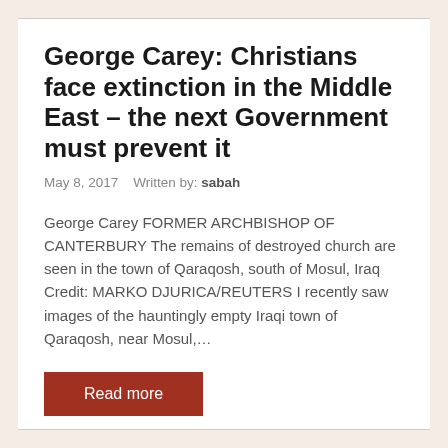George Carey: Christians face extinction in the Middle East – the next Government must prevent it
May 8, 2017    Written by: sabah
George Carey FORMER ARCHBISHOP OF CANTERBURY The remains of destroyed church are seen in the town of Qaraqosh, south of Mosul, Iraq Credit: MARKO DJURICA/REUTERS I recently saw images of the hauntingly empty Iraqi town of Qaraqosh, near Mosul,…
Read more